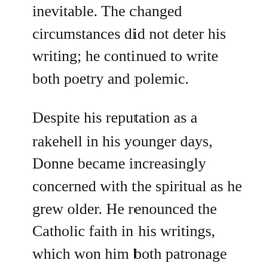inevitable. The changed circumstances did not deter his writing; he continued to write both poetry and polemic.
Despite his reputation as a rakehell in his younger days, Donne became increasingly concerned with the spiritual as he grew older. He renounced the Catholic faith in his writings, which won him both patronage and the favor of King James I. This favor was not without strings – the King persuaded him to the point of blackmail to take